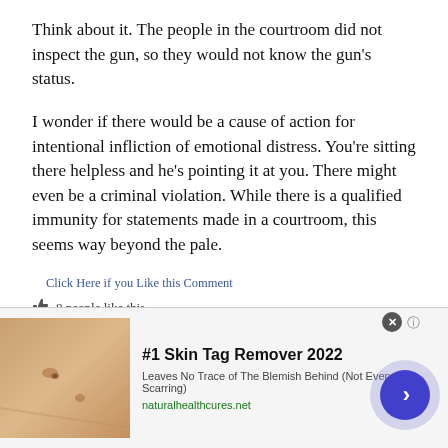Think about it. The people in the courtroom did not inspect the gun, so they would not know the gun’s status.
I wonder if there would be a cause of action for intentional infliction of emotional distress. You’re sitting there helpless and he’s pointing it at you. There might even be a criminal violation. While there is a qualified immunity for statements made in a courtroom, this seems way beyond the pale.
Click Here if you Like this Comment
8 people like this.
Reply 17 – Posted by: downnout 11/15/2021 8:44:34 PM (No. 978765)
[Figure (photo): Advertisement banner: #1 Skin Tag Remover 2022. Leaves No Trace of The Blemish Behind (Not Even Scarring). naturalhealthcures.net. Shows close-up skin image on left and a blue arrow button on right.]